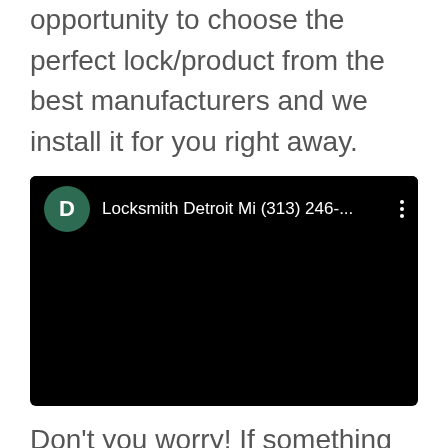opportunity to choose the perfect lock/product from the best manufacturers and we install it for you right away.
[Figure (screenshot): YouTube video embed showing a dark/black video player with a channel avatar (green circle with letter D), channel name 'Locksmith Detroit Mi (313) 246-...' and a three-dot menu icon on a black background.]
Don't you worry! If something is not